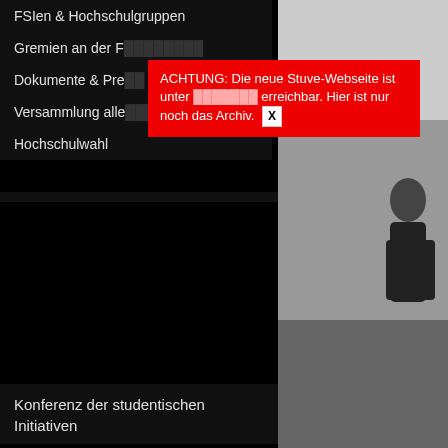FSIen & Hochschulgruppen
Gremien an der F[...]
Dokumente & Pre[...]
Versammlung alle[...]
Hochschulwahl
ACHTUNG: Die neue Stuve-Webseite ist unter [link] erreichbar. Hier ist nur noch das Archiv. X
EinfÃ¼hrung
Checkliste zum Studienbeginn
RRZE-Login
MeinCampus
StudOn
UnivIS – Stundenplan erstellen
Bibliothek – OPACPlus
IT-Infrastruktur
Konferenz der studentischen Initiativen
[Figure (photo): Person in dark clothing on grey background, right side of page]